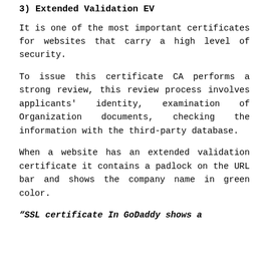3) Extended Validation EV
It is one of the most important certificates for websites that carry a high level of security.
To issue this certificate CA performs a strong review, this review process involves applicants' identity, examination of Organization documents, checking the information with the third-party database.
When a website has an extended validation certificate it contains a padlock on the URL bar and shows the company name in green color.
“SSL certificate In GoDaddy shows a